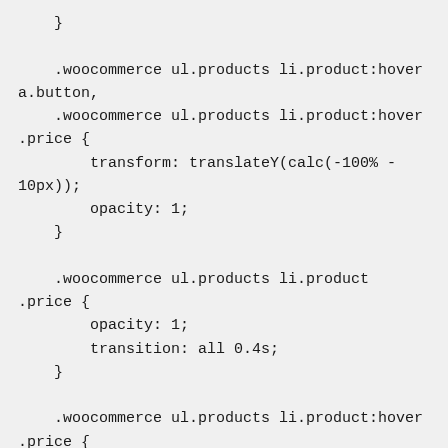}

    .woocommerce ul.products li.product:hover a.button,
    .woocommerce ul.products li.product:hover .price {
        transform: translateY(calc(-100% - 10px));
        opacity: 1;
    }

    .woocommerce ul.products li.product .price {
        opacity: 1;
        transition: all 0.4s;
    }

    .woocommerce ul.products li.product:hover .price {
        opacity: 0;
        transform: translateY(calc(-100% - 10px));
    }
}